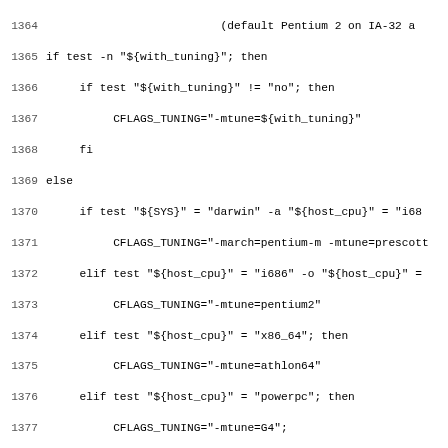[Figure (other): Source code listing (shell/autoconf script) with line numbers 1364-1395, showing CPU tuning flag detection logic.]